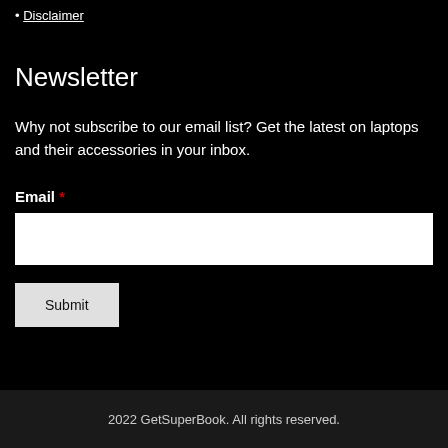Disclaimer
Newsletter
Why not subscribe to our email list? Get the latest on laptops and their accessories in your inbox.
Email *
2022 GetSuperBook. All rights reserved.